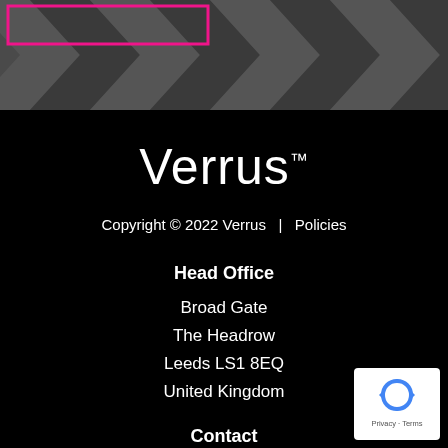[Figure (logo): Dark grey banner with chevron/arrow pattern and a pink rectangular outline box in the upper left]
Verrus™
Copyright © 2022 Verrus   |   Policies
Head Office
Broad Gate
The Headrow
Leeds LS1 8EQ
United Kingdom
[Figure (logo): Google reCAPTCHA badge with blue circular arrows icon and Privacy - Terms text]
Contact